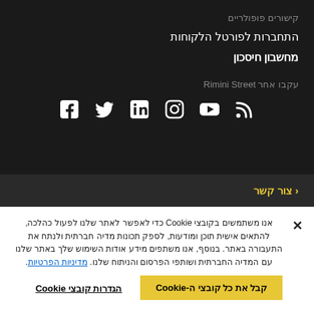קישורים פופולריים
התחברות לפורטל הלקוחות
מחשבון חיסכון
עקבו אחר Rimini Street
[Figure (illustration): Social media icons: RSS, YouTube, Instagram, LinkedIn, Twitter, Facebook]
צור קשר ‹
אנו משתמשים בקובצי Cookie כדי לאפשר לאתר שלנו לפעול כהלכה, להתאים אישית תוכן ומודעות, לספק תכונות מדיה חברתית ולנתח את התעבורה באתר. בנוסף, אנו משתפים מידע אודות השימוש שלך באתר שלנו עם המדיה החברתית ושותפי הפרסום והניתוח שלנו. מדיניות הפרטיות.
קבל את כל קובצי ה-Cookie
הגדרות קובצי Cookie